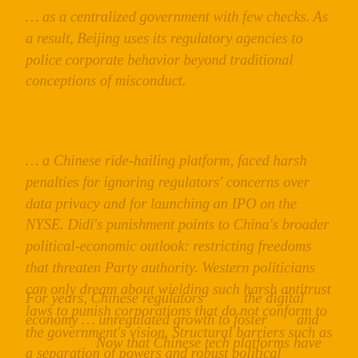… as a centralized government with few checks. As a result, Beijing uses its regulatory agencies to police corporate behavior beyond traditional conceptions of misconduct.
… a Chinese ride-hailing platform, faced harsh penalties for ignoring regulators' concerns over data privacy and for launching an IPO on the NYSE. Didi's punishment points to China's broader political-economic outlook: restricting freedoms that threaten Party authority. Western politicians can only dream about wielding such harsh antitrust laws to punish corporations that do not conform to the government's vision. Structural barriers such as a separation of powers and robust political expression rights hinder such overreach.
For years, Chinese regulators … the digital economy … unregulated growth to foster … and …
Now that Chinese tech platforms have …